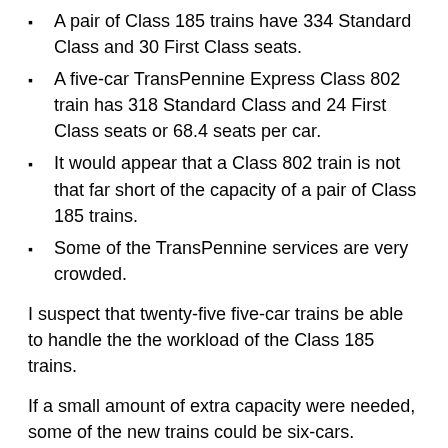A pair of Class 185 trains have 334 Standard Class and 30 First Class seats.
A five-car TransPennine Express Class 802 train has 318 Standard Class and 24 First Class seats or 68.4 seats per car.
It would appear that a Class 802 train is not that far short of the capacity of a pair of Class 185 trains.
Some of the TransPennine services are very crowded.
I suspect that twenty-five five-car trains be able to handle the the workload of the Class 185 trains.
If a small amount of extra capacity were needed, some of the new trains could be six-cars.
In this section, I have assumed the new trains will be Class 802 trains, but any train manufacturer pitching for